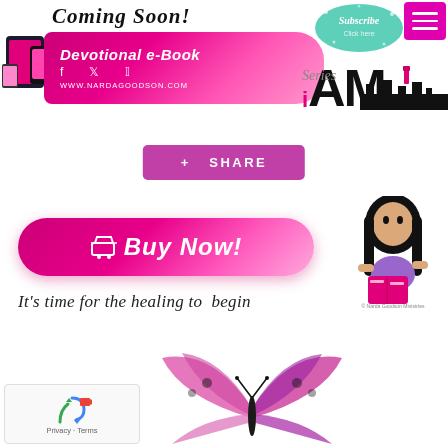[Figure (illustration): Coming Soon! Devotional e-Book banner with pink ribbon/banner, social media icons (f, twitter, instagram), website www.nardagoodson.com, and device mockups on the left side]
[Figure (illustration): Subscribe ellipse logo in teal/mint color with sparkles, iAM Series logo, and a magenta/pink hamburger menu button in the top right]
+ SHARE
[Figure (illustration): Pink gradient Buy Now! button with shopping cart icon]
[Figure (illustration): Cartoon illustration of a dark-haired girl reading a book]
It's time for the healing to begin
[Figure (illustration): Pink and purple butterfly illustration at the bottom center]
[Figure (illustration): Google reCAPTCHA widget in bottom left with Privacy and Terms links]